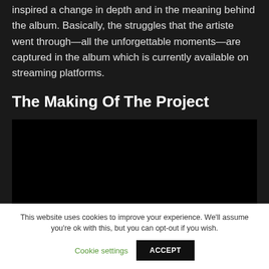inspired a change in depth and in the meaning behind the album. Basically, the struggles that the artiste went through—all the unforgettable moments—are captured in the album which is currently available on streaming platforms.
The Making Of The Project
[Figure (other): A black/dark rectangular video embed placeholder]
This website uses cookies to improve your experience. We'll assume you're ok with this, but you can opt-out if you wish.
Cookie settings   ACCEPT